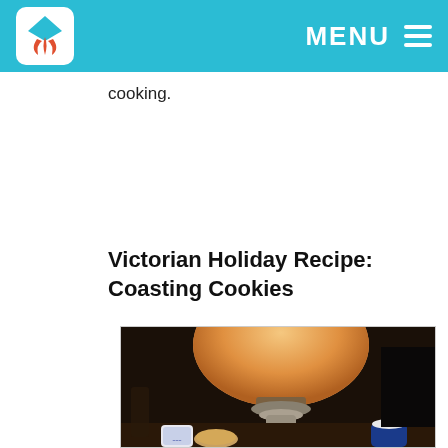MENU
cooking.
Victorian Holiday Recipe: Coasting Cookies
[Figure (photo): A vintage oil lamp with a large rounded frosted glass shade in peach/orange color, sitting on a dark wooden table. In the foreground are cookies, a blue and white decorative mug, and a blue enamel mug with white powder (sugar). A wooden chair is visible in the background.]